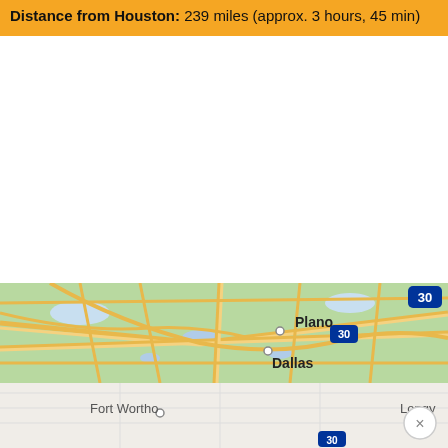Distance from Houston: 239 miles (approx. 3 hours, 45 min)
[Figure (map): Google Maps screenshot showing the Dallas–Fort Worth metroplex area including Plano, Dallas, Fort Worth, and Longview. Shows highway routes including I-30. The map has a teal/green land color with yellow roads.]